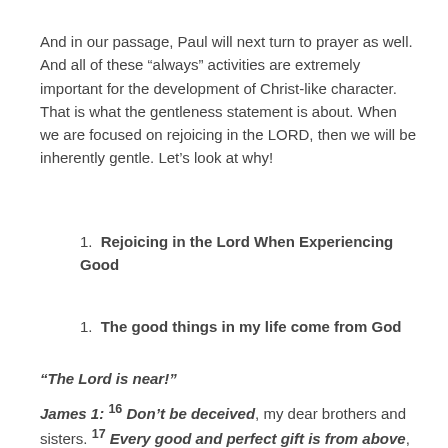And in our passage, Paul will next turn to prayer as well. And all of these “always” activities are extremely important for the development of Christ-like character. That is what the gentleness statement is about. When we are focused on rejoicing in the LORD, then we will be inherently gentle. Let’s look at why!
1. Rejoicing in the Lord When Experiencing Good
1. The good things in my life come from God
“The Lord is near!”
James 1: 16 Don’t be deceived, my dear brothers and sisters. 17 Every good and perfect gift is from above, coming down